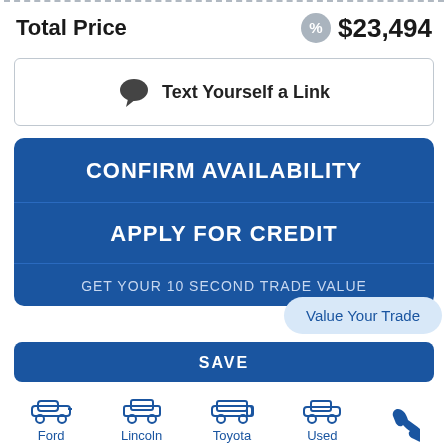Total Price   $23,494
Text Yourself a Link
CONFIRM AVAILABILITY
APPLY FOR CREDIT
GET YOUR 10 SECOND TRADE VALUE
Value Your Trade
SAVE
Ford  Lincoln  Toyota  Used